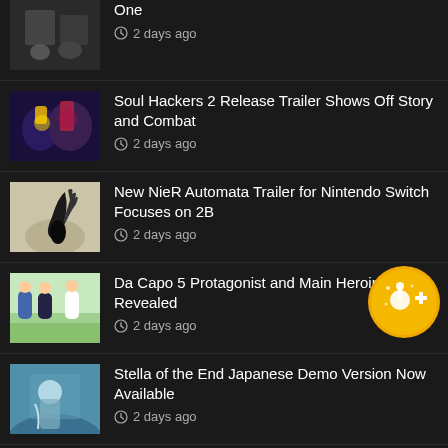[Figure (screenshot): News listing screenshot from a gaming website showing article thumbnails and titles on dark background]
One
2 days ago
Soul Hackers 2 Release Trailer Shows Off Story and Combat
2 days ago
New NieR Automata Trailer for Nintendo Switch Focuses on 2B
2 days ago
Da Capo 5 Protagonist and Main Heroines Revealed
2 days ago
Stella of the End Japanese Demo Version Now Available
2 days ago
Koei Tecmo TGS 2022 Lineup Adds Wo Long: Fallen Dynasty...